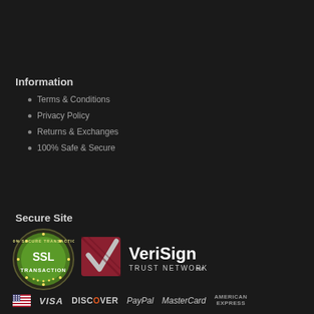Information
Terms & Conditions
Privacy Policy
Returns & Exchanges
100% Safe & Secure
Secure Site
[Figure (logo): SSL Secure Transaction badge (green circular badge with SSL TRANSACTION text), VeriSign Trust Network logo (dark red checkmark with VeriSign TRUST NETWORK text)]
[Figure (logo): Payment icons row: US flag icon, VISA, DISCOVER, PayPal, MasterCard, AMERICAN EXPRESS]